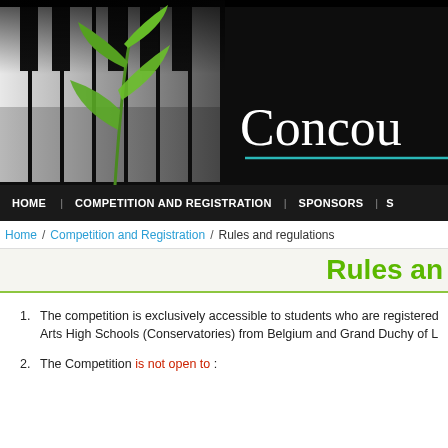[Figure (photo): Website header banner showing piano keys with a green plant sprout on the left side, and the beginning of the word 'Concou' (Concours) in large white serif text on the right, with a teal horizontal line beneath, all on a dark/black background.]
HOME   COMPETITION AND REGISTRATION   SPONSORS   S
Home / Competition and Registration / Rules and regulations
Rules an
1. The competition is exclusively accessible to students who are registered Arts High Schools (Conservatories) from Belgium and Grand Duchy of L
2. The Competition is not open to :